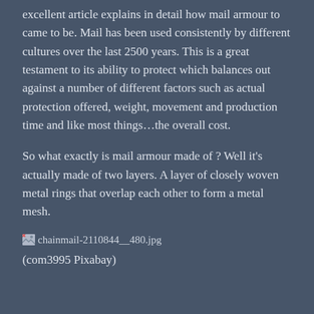excellent article explains in detail how mail armour to came to be. Mail has been used consistently by different cultures over the last 2500 years. This is a great testament to its ability to protect which balances out against a number of different factors such as actual protection offered, weight, movement and production time and like most things…the overall cost.
So what exactly is mail armour made of ? Well it's actually made of two layers. A layer of closely woven metal rings that overlap each other to form a metal mesh.
[Figure (photo): Broken image placeholder showing filename chainmail-2110844__480.jpg]
(com3995 Pixabay)